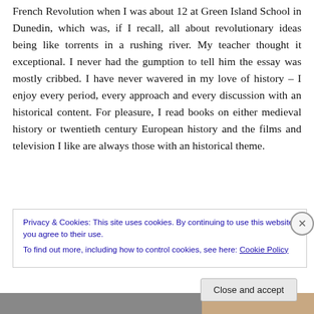French Revolution when I was about 12 at Green Island School in Dunedin, which was, if I recall, all about revolutionary ideas being like torrents in a rushing river. My teacher thought it exceptional. I never had the gumption to tell him the essay was mostly cribbed. I have never wavered in my love of history – I enjoy every period, every approach and every discussion with an historical content. For pleasure, I read books on either medieval history or twentieth century European history and the films and television I like are always those with an historical theme.
Privacy & Cookies: This site uses cookies. By continuing to use this website, you agree to their use.
To find out more, including how to control cookies, see here: Cookie Policy